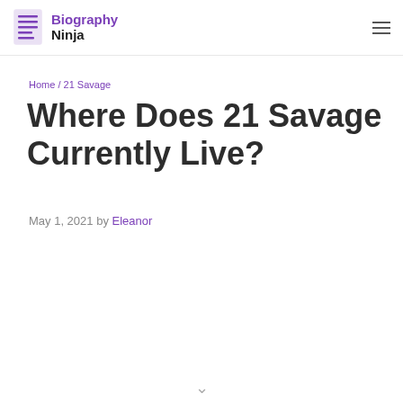Biography Ninja
Home / 21 Savage
Where Does 21 Savage Currently Live?
May 1, 2021 by Eleanor